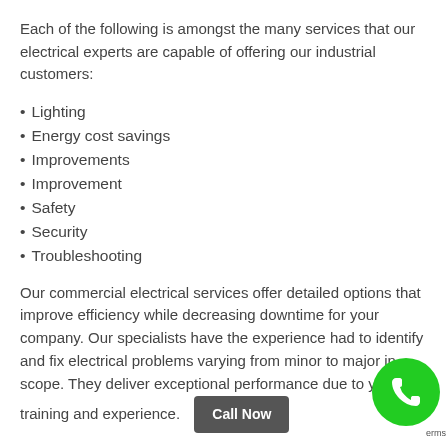Each of the following is amongst the many services that our electrical experts are capable of offering our industrial customers:
Lighting
Energy cost savings
Improvements
Improvement
Safety
Security
Troubleshooting
Our commercial electrical services offer detailed options that improve efficiency while decreasing downtime for your company. Our specialists have the experience had to identify and fix electrical problems varying from minor to major in scope. They deliver exceptional performance due to years of training and experience.
Our Electrical Providers offers guaranteed rates, fast